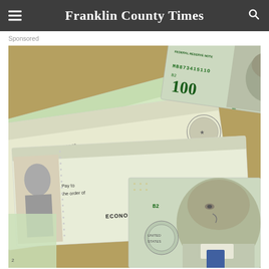Franklin County Times
Sponsored
[Figure (photo): Close-up photo of US $100 bills (Federal Reserve Notes) fanned out alongside government stimulus checks reading 'Economic Impact Payment' and 'Pay to the order of', with serial number MB87341511O visible on one bill.]